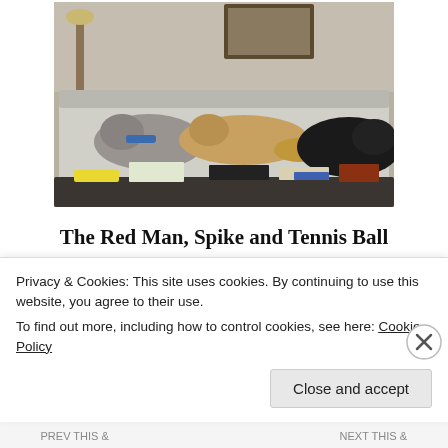[Figure (photo): Three dogs resting on a couch covered with a grey/white sheet. A grey dog with a blue harness is on the left, a tan/golden dog is in the middle, and a large black dog is on the right. A cluttered living room is visible in the background with items on a coffee table in the foreground.]
The Red Man, Spike and Tennis Ball Obsessed Chelsea
Advertisements
Privacy & Cookies: This site uses cookies. By continuing to use this website, you agree to their use.
To find out more, including how to control cookies, see here: Cookie Policy
Close and accept